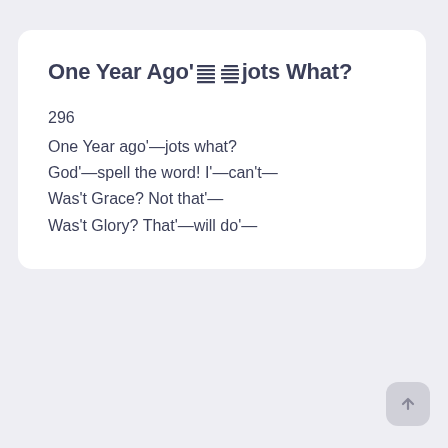One Year Ago'☰☰jots What?
296
One Year ago'—jots what?
God'—spell the word! I'—can't—
Was't Grace? Not that'—
Was't Glory? That'—will do'—